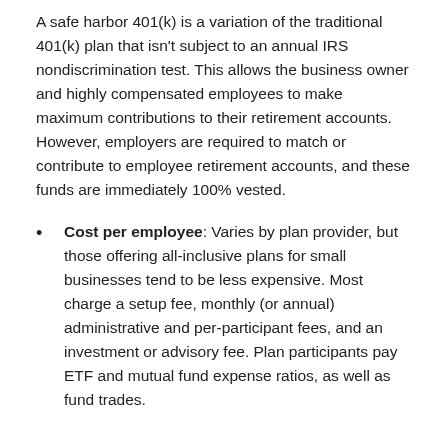A safe harbor 401(k) is a variation of the traditional 401(k) plan that isn't subject to an annual IRS nondiscrimination test. This allows the business owner and highly compensated employees to make maximum contributions to their retirement accounts. However, employers are required to match or contribute to employee retirement accounts, and these funds are immediately 100% vested.
Cost per employee: Varies by plan provider, but those offering all-inclusive plans for small businesses tend to be less expensive. Most charge a setup fee, monthly (or annual) administrative and per-participant fees, and an investment or advisory fee. Plan participants pay ETF and mutual fund expense ratios, as well as fund trades.